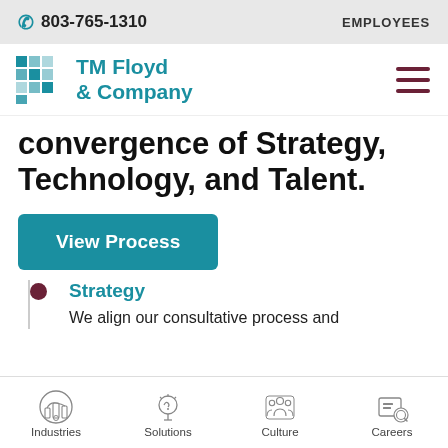803-765-1310   EMPLOYEES
[Figure (logo): TM Floyd & Company logo with teal grid squares and teal text]
convergence of Strategy, Technology, and Talent.
View Process
Strategy
We align our consultative process and
Industries   Solutions   Culture   Careers